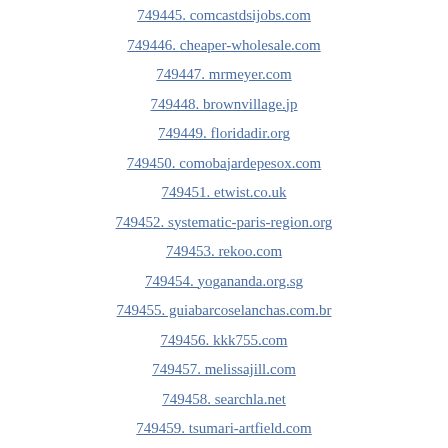749445. comcastdsijobs.com
749446. cheaper-wholesale.com
749447. mrmeyer.com
749448. brownvillage.jp
749449. floridadir.org
749450. comobajardepesox.com
749451. etwist.co.uk
749452. systematic-paris-region.org
749453. rekoo.com
749454. yogananda.org.sg
749455. guiabarcoselanchas.com.br
749456. kkk755.com
749457. melissajill.com
749458. searchla.net
749459. tsumari-artfield.com